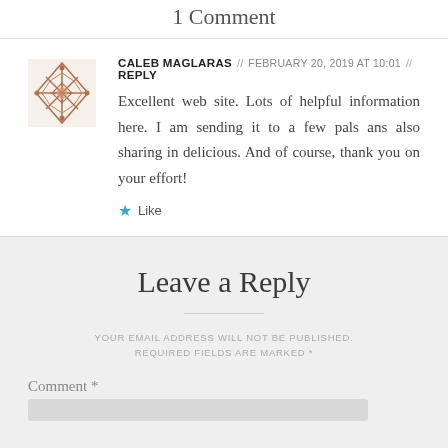1 Comment
CALEB MAGLARAS // FEBRUARY 20, 2019 AT 10:01 // REPLY
Excellent web site. Lots of helpful information here. I am sending it to a few pals ans also sharing in delicious. And of course, thank you on your effort!
★ Like
Leave a Reply
YOUR EMAIL ADDRESS WILL NOT BE PUBLISHED. REQUIRED FIELDS ARE MARKED *
Comment *